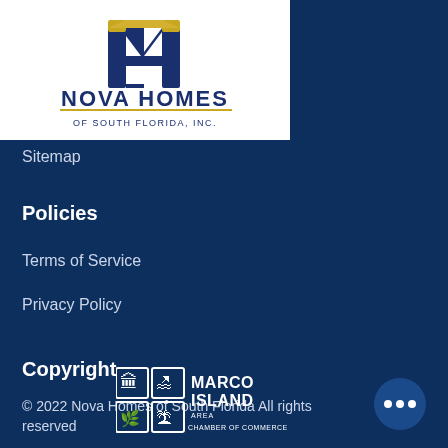[Figure (logo): Nova Homes of South Florida, Inc. logo with NH letters in navy and gold on white background]
Sitemap
Policies
Terms of Service
Privacy Policy
Copyright
© 2022 Nova Homes of South Florida All rights reserved
[Figure (infographic): Social media icons row: Facebook, Instagram, Twitter, Google+, Houzz, Marco Island News, and another icon]
[Figure (logo): Marco Island Area Chamber of Commerce logo in white on dark blue background]